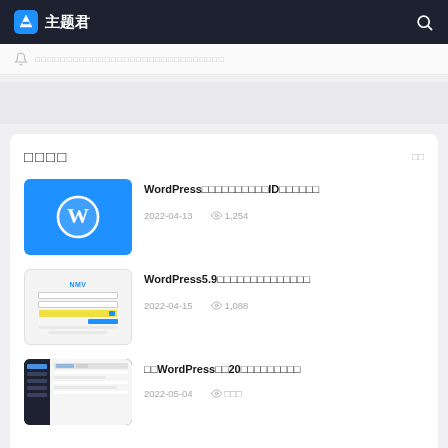主题君
□□□□□□□□□□□□□□□□□□□□□□□□□□□
□□□□  □□
WordPress□□□□□□□□□□ID□□□□□□ 2022-04-13  1,254
WordPress5.9□□□□□□□□□□□□□□ 2022-04-15  1,088
□□WordPress□□20□□□□□□□□□ 2022-05-04  □□□